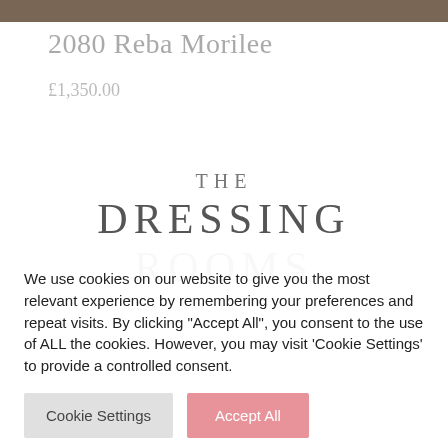[Figure (photo): Top portion of a product/room photo, cropped — only the bottom edge is visible as a brown/dark strip]
2080 Reba Morilee
£1,350.00
[Figure (logo): The Dressing Rooms logo — 'THE' in spaced serif capitals above 'DRESSING ROOMS' in large spaced serif capitals]
We use cookies on our website to give you the most relevant experience by remembering your preferences and repeat visits. By clicking "Accept All", you consent to the use of ALL the cookies. However, you may visit 'Cookie Settings' to provide a controlled consent.
Cookie Settings
Accept All